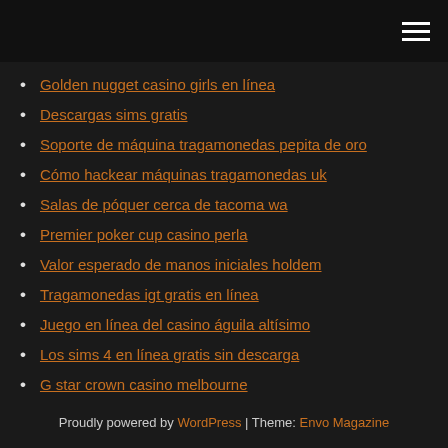[hamburger menu icon]
Golden nugget casino girls en línea
Descargas sims gratis
Soporte de máquina tragamonedas pepita de oro
Cómo hackear máquinas tragamonedas uk
Salas de póquer cerca de tacoma wa
Premier poker cup casino perla
Valor esperado de manos iniciales holdem
Tragamonedas igt gratis en línea
Juego en línea del casino águila altísimo
Los sims 4 en línea gratis sin descarga
G star crown casino melbourne
Proudly powered by WordPress | Theme: Envo Magazine